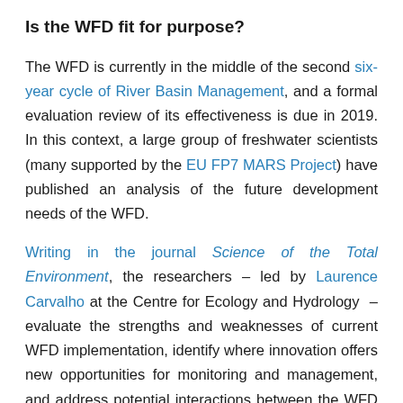Is the WFD fit for purpose?
The WFD is currently in the middle of the second six-year cycle of River Basin Management, and a formal evaluation review of its effectiveness is due in 2019. In this context, a large group of freshwater scientists (many supported by the EU FP7 MARS Project) have published an analysis of the future development needs of the WFD.
Writing in the journal Science of the Total Environment, the researchers – led by Laurence Carvalho at the Centre for Ecology and Hydrology – evaluate the strengths and weaknesses of current WFD implementation, identify where innovation offers new opportunities for monitoring and management, and address potential interactions between the WFD and other policy frameworks. In so doing, they ask, "Is the WFD fit-for-purpose after 18 years